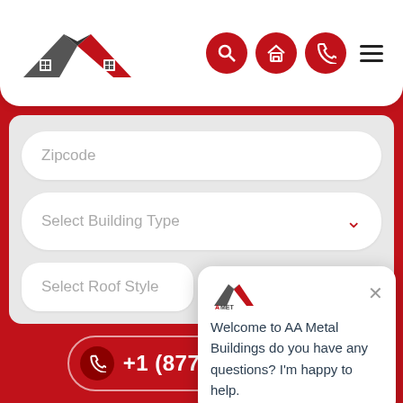[Figure (logo): AA Metal Buildings logo with roof/X icon in dark gray and red]
[Figure (screenshot): Website header with search, home, phone icon buttons in red circles, and hamburger menu]
Zipcode
Select Building Type
Select Roof Style
Width
[Figure (screenshot): Chat popup from AA Metal Buildings with logo and message: Welcome to AA Metal Buildings do you have any questions? I'm happy to help.]
Welcome to AA Metal Buildings do you have any questions? I'm happy to help.
+1 (877) 244-4470